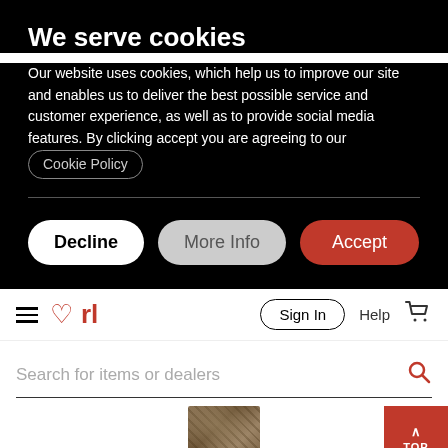We serve cookies
Our website uses cookies, which help us to improve our site and enables us to deliver the best possible service and customer experience, as well as to provide social media features. By clicking accept you are agreeing to our Cookie Policy
[Figure (screenshot): Cookie consent dialog with Decline, More Info, and Accept buttons on black background, followed by a website navigation bar with rl logo, Sign In, Help, cart icon, a search bar reading 'Search for items or dealers', a thumbnail image, and a red TOP button]